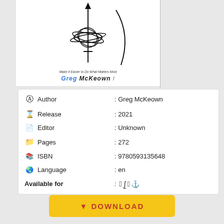[Figure (illustration): Book cover showing Effortless by Greg McKeown with tangled line art and subtitle 'Make It Easier to Do What Matters Most']
| Field | Value |
| --- | --- |
| Author | Greg McKeown |
| Release | 2021 |
| Editor | Unknown |
| Pages | 272 |
| ISBN | 9780593135648 |
| Language | en |
| Available for | (Apple, Windows, Linux, Android) |
DOWNLOAD